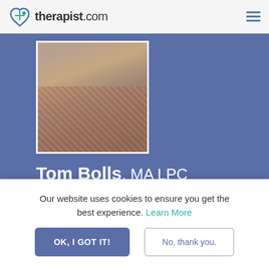therapist.com
[Figure (photo): Profile photo of Tom Bolls, a middle-aged man wearing a plaid shirt]
Tom Bolls, MA LPC
Verified  Certified
Licensed Professional Counselor
Online Sessions
Our website uses cookies to ensure you get the best experience. Learn More
OK, I GOT IT!
No, thank you.